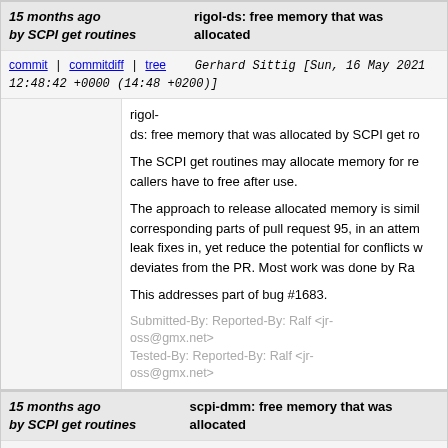15 months ago   rigol-ds: free memory that was allocated by SCPI get routines
commit | commitdiff | tree   Gerhard Sittig [Sun, 16 May 2021 12:48:42 +0000 (14:48 +0200)]
rigol-ds: free memory that was allocated by SCPI get routines

The SCPI get routines may allocate memory for re callers have to free after use.

The approach to release allocated memory is simil corresponding parts of pull request 95, in an attem leak fixes in, yet reduce the potential for conflicts w deviates from the PR. Most work was done by Ra

This addresses part of bug #1683.

Submitted-By: Reported-By: Ralf <jr-oss@gmx.net>
Tested-By: Reported-By: Ralf <jr-oss@gmx.net>
15 months ago   scpi-dmm: free memory that was allocated by SCPI get routines
commit | commitdiff | tree   Gerhard Sittig [Sun, 16 May 2021 12:52:49 +0000 (14:52 +0200)]